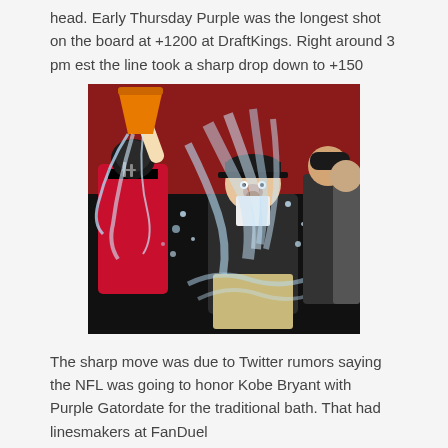head. Early Thursday Purple was the longest shot on the board at +1200 at DraftKings. Right around 3 pm est the line took a sharp drop down to +150
[Figure (photo): NFL coach being doused with a Gatorade bath, players in red and black Falcons uniforms visible, orange bucket being poured, water splashing everywhere]
The sharp move was due to Twitter rumors saying the NFL was going to honor Kobe Bryant with Purple Gatordate for the traditional bath. That had linesmakers at FanDuel